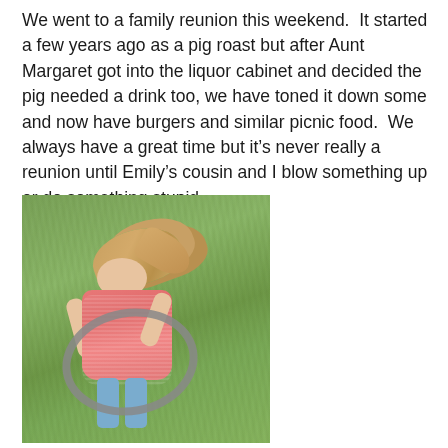We went to a family reunion this weekend.  It started a few years ago as a pig roast but after Aunt Margaret got into the liquor cabinet and decided the pig needed a drink too, we have toned it down some and now have burgers and similar picnic food.  We always have a great time but it's never really a reunion until Emily's cousin and I blow something up or do something stupid.
[Figure (photo): A young girl with blonde hair wearing a pink striped sleeveless shirt and jeans, playing with a hula hoop on a green grass lawn.]